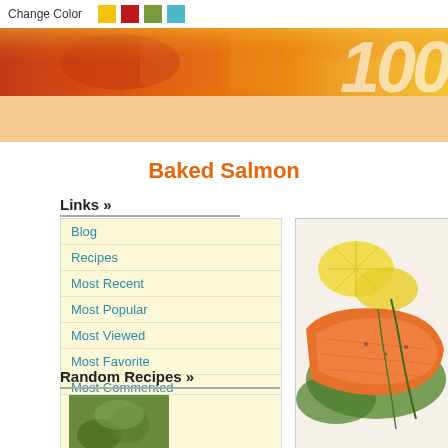Change Color
[Figure (screenshot): Website banner with warm orange gradient and stylized food imagery, showing partial text and large '100+' number in white]
Baked Salmon
Links »
Blog
Recipes
Most Recent
Most Popular
Most Viewed
Most Favorite
Most Commented
Random Recipes »
[Figure (photo): Baked salmon fillets with lemon slices and green herbs on a white plate]